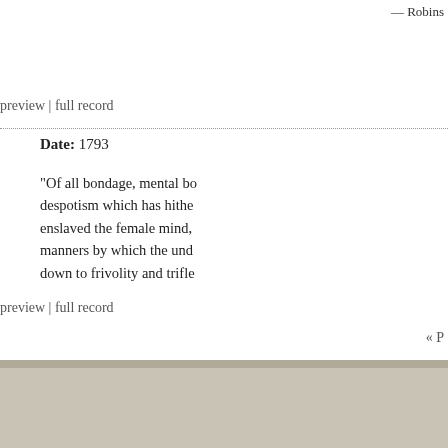— Robins
preview | full record
Date: 1793
"Of all bondage, mental bondage is despotism which has hitherto most enslaved the female mind, manners by which the und... down to frivolity and trifle...
preview | full record
« P
The Mind is a Metaphor is authored by Brad Pasanek, Assistant Professor of English, University of Virginia.
This wo Subscribe